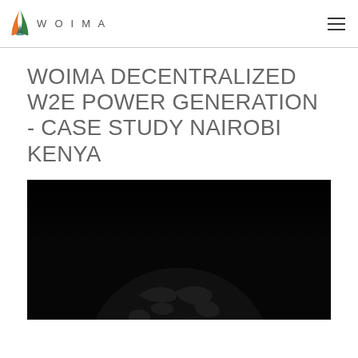WOIMA
WOIMA DECENTRALIZED W2E POWER GENERATION - CASE STUDY NAIROBI KENYA
[Figure (photo): Dark background photo showing a partial view of a metallic globe emerging from below, lit dramatically against a black background.]